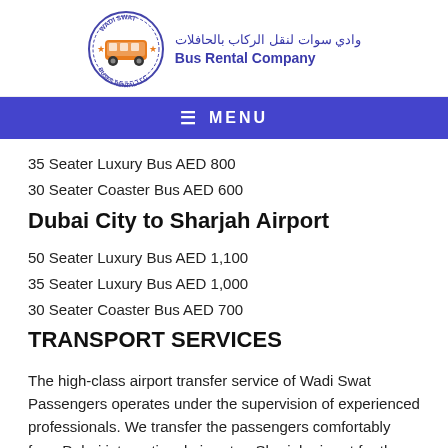[Figure (logo): Wadi Swat Buses Rental LLC logo with circular badge and Arabic/English company name]
≡ MENU
35 Seater Luxury Bus AED 800
30 Seater Coaster Bus AED 600
Dubai City to Sharjah Airport
50 Seater Luxury Bus AED 1,100
35 Seater Luxury Bus AED 1,000
30 Seater Coaster Bus AED 700
TRANSPORT SERVICES
The high-class airport transfer service of Wadi Swat Passengers operates under the supervision of experienced professionals. We transfer the passengers comfortably from Dubai international airport or Sharjah airport for the tours. From a 7 seat Toyota